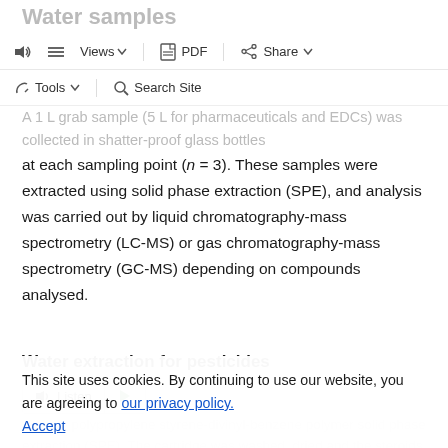Water samples
Views  PDF  Share  Tools  Search Site
A 1 L grab sample (5 L for pharmaceuticals and EDCs) was collected in shatter-proof glass bottles at each sampling point (n = 3). These samples were extracted using solid phase extraction (SPE), and analysis was carried out by liquid chromatography-mass spectrometry (LC-MS) or gas chromatography-mass spectrometry (GC-MS) depending on compounds analysed.
Water extraction for pesticides
This site uses cookies. By continuing to use our website, you are agreeing to our privacy policy. Accept